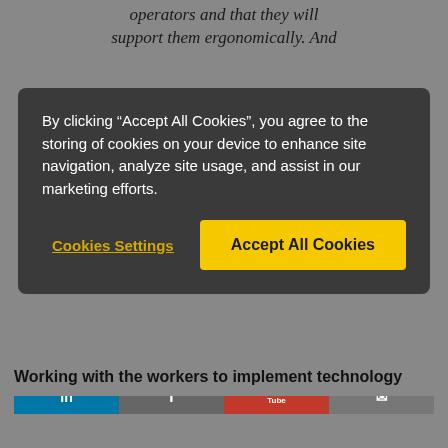operators and that they will support them ergonomically. And
By clicking “Accept All Cookies”, you agree to the storing of cookies on your device to enhance site navigation, analyze site usage, and assist in our marketing efforts.
Cookies Settings
Accept All Cookies
Working with the workers to implement technology
[Figure (photo): Workers in an industrial factory working alongside a robotic arm. Social media icons (LinkedIn, Facebook, YouTube, email) visible at bottom. Yellow scroll-up button on right side.]